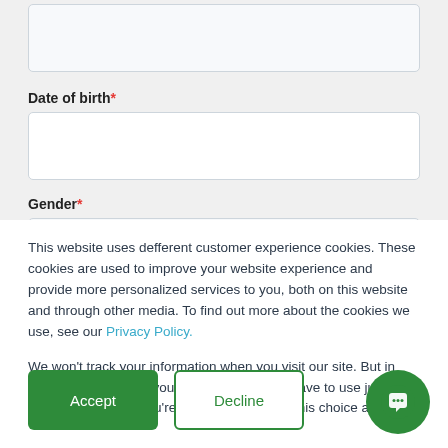[Figure (screenshot): Top input field (partially visible, no label visible)]
Date of birth*
[Figure (screenshot): Date of birth input field]
Gender*
[Figure (screenshot): Gender input field (partially visible)]
This website uses defferent customer experience cookies. These cookies are used to improve your website experience and provide more personalized services to you, both on this website and through other media. To find out more about the cookies we use, see our Privacy Policy.
We won't track your information when you visit our site. But in order to comply with your preferences, we'll have to use just one tiny cookie so that you're not asked to make this choice again.
Accept
Decline